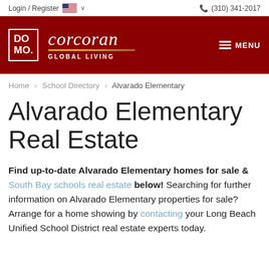Login / Register   (310) 341-2017
[Figure (logo): Corcoran Global Living logo with DOMO box and brand name in italic serif, red background header band]
Home > School Directory > Alvarado Elementary
Alvarado Elementary Real Estate
Find up-to-date Alvarado Elementary homes for sale & South Bay schools real estate below! Searching for further information on Alvarado Elementary properties for sale? Arrange for a home showing by contacting your Long Beach Unified School District real estate experts today.